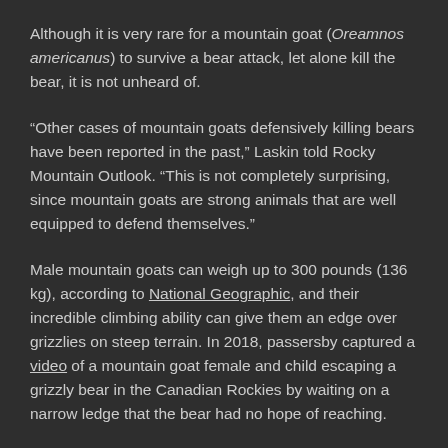Although it is very rare for a mountain goat (Oreamnos americanus) to survive a bear attack, let alone kill the bear, it is not unheard of.
“Other cases of mountain goats defensively killing bears have been reported in the past,” Laskin told Rocky Mountain Outlook. “This is not completely surprising, since mountain goats are strong animals that are well equipped to defend themselves.”
Male mountain goats can weigh up to 300 pounds (136 kg), according to National Geographic, and their incredible climbing ability can give them an edge over grizzlies on steep terrain. In 2018, passersby captured a video of a mountain goat female and child escaping a grizzly bear in the Canadian Rockies by waiting on a narrow ledge that the bear had no hope of reaching.